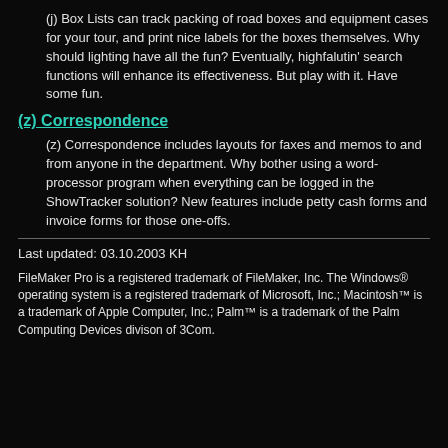(j) Box Lists can track packing of road boxes and equipment cases for your tour, and print nice labels for the boxes themselves. Why should lighting have all the fun? Eventually, highfalutin' search functions will enhance its effectiveness. But play with it. Have some fun.
(z) Correspondence
(z) Correspondence includes layouts for faxes and memos to and from anyone in the department. Why bother using a word-processor program when everything can be logged in the ShowTracker solution? New features include petty cash forms and invoice forms for those one-offs.
Last updated: 03.10.2003 KH
FileMaker Pro is a registered trademark of FileMaker, Inc. The Windows® operating system is a registered trademark of Microsoft, Inc.; Macintosh™ is a trademark of Apple Computer, Inc.; Palm™ is a trademark of the Palm Computing Devices divison of 3Com.